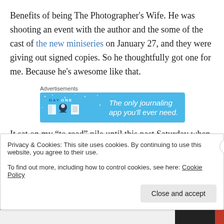Benefits of being The Photographer's Wife. He was shooting an event with the author and the some of the cast of the new miniseries on January 27, and they were giving out signed copies. So he thoughtfully got one for me. Because he's awesome like that.
Advertisements
[Figure (screenshot): Day One journaling app advertisement banner with blue background, showing app icons and text: 'The only journaling app you'll ever need.']
It sat on my “to read” pile until this past Saturday when I
Privacy & Cookies: This site uses cookies. By continuing to use this website, you agree to their use.
To find out more, including how to control cookies, see here: Cookie Policy